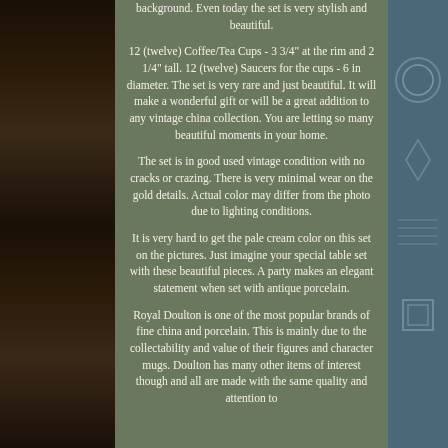[Figure (photo): Left side photo strip showing dark table/surface background]
background. Even today the set is very stylish and beautiful.

12 (twelve) Coffee/Tea Cups - 3 3/4" at the rim and 2 1/4" tall. 12 (twelve) Saucers for the cups - 6 in diameter. The set is very rare and just beautiful. It will make a wonderful gift or will be a great addition to any vintage china collection. You are letting so many beautiful moments in your home.

The set is in good used vintage condition with no cracks or crazing. There is very minimal wear on the gold details. Actual color may differ from the photo due to lighting conditions.

It is very hard to get the pale cream color on this set on the pictures. Just imagine your special table set with these beautiful pieces. A party makes an elegant statement when set with antique porcelain.

Royal Doulton is one of the most popular brands of fine china and porcelain. This is mainly due to the collectability and value of their figures and character mugs. Doulton has many other items of interest though and all are made with the same quality and attention to
[Figure (photo): Right side photo strip showing blue/teal ceramic cup with decorative pattern]